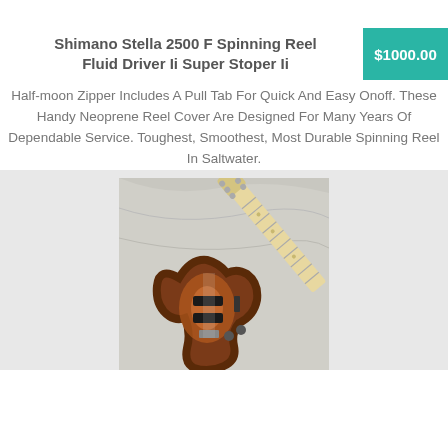Shimano Stella 2500 F Spinning Reel Fluid Driver Ii Super Stoper Ii
$1000.00
Half-moon Zipper Includes A Pull Tab For Quick And Easy Onoff. These Handy Neoprene Reel Cover Are Designed For Many Years Of Dependable Service. Toughest, Smoothest, Most Durable Spinning Reel In Saltwater.
[Figure (photo): Photo of a sunburst-colored electric guitar (Telecaster-style) with a maple neck, lying on a light gray fabric background.]